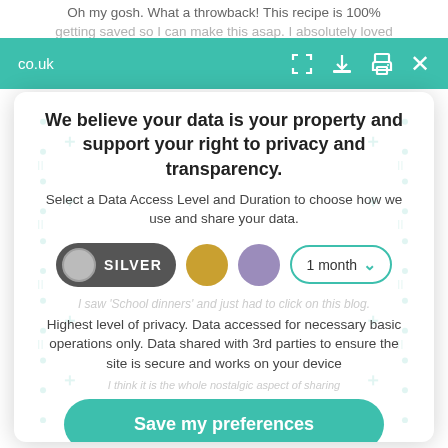Oh my gosh. What a throwback! This recipe is 100% getting saved so I can make this asap. I absolutely loved
co.uk
We believe your data is your property and support your right to privacy and transparency.
Select a Data Access Level and Duration to choose how we use and share your data.
[Figure (infographic): Privacy controls row: Silver toggle pill (active/dark), gold circle, purple circle, and a '1 month' dropdown with teal border and chevron arrow]
Highest level of privacy. Data accessed for necessary basic operations only. Data shared with 3rd parties to ensure the site is secure and works on your device
Save my preferences
Customize
Privacy policy